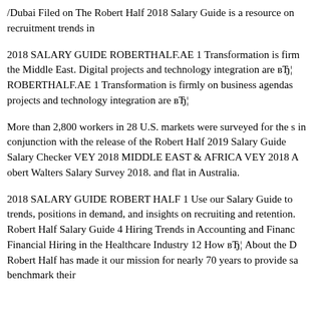/Dubai Filed on The Robert Half 2018 Salary Guide is a resource on recruitment trends in
2018 SALARY GUIDE ROBERTHALF.AE 1 Transformation is firmly on business agendas across the Middle East. Digital projects and technology integration are вЂ¦ ROBERTHALF.AE 1 Transformation is firmly on business agendas across projects and technology integration are вЂ¦
More than 2,800 workers in 28 U.S. markets were surveyed for the s… in conjunction with the release of the Robert Half 2019 Salary Guide Salary Checker VEY 2018 MIDDLE EAST & AFRICA VEY 2018 A obert Walters Salary Survey 2018. and flat in Australia.
2018 SALARY GUIDE ROBERT HALF 1 Use our Salary Guide to trends, positions in demand, and insights on recruiting and retention. Robert Half Salary Guide 4 Hiring Trends in Accounting and Finance Financial Hiring in the Healthcare Industry 12 How вЂ¦ About the D Robert Half has made it our mission for nearly 70 years to provide sa benchmark their